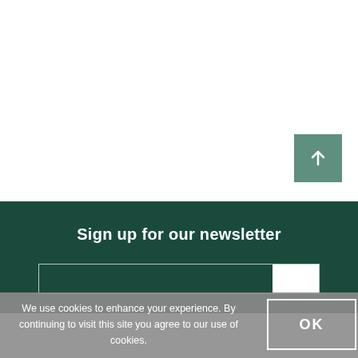[Figure (other): White section upper half of page with a scroll-to-top button (green square with white upward arrow) in the lower right]
Sign up for our newsletter
We use cookies to enhance your experience. By continuing to visit this site you agree to our use of cookies.